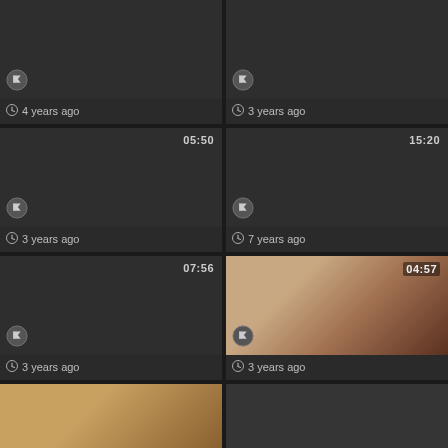[Figure (screenshot): Video thumbnail grid showing 6 video cards, each with duration timer, flag icon, and age label. Cards arranged in 2-column grid.]
4 years ago
3 years ago
05:50 · 3 years ago
15:20 · 7 years ago
07:56 · 3 years ago
04:57 · 3 years ago